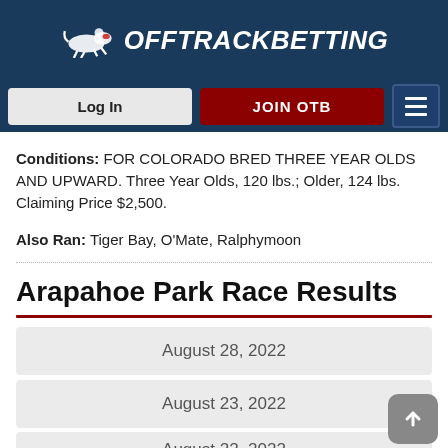OffTrackBetting
Conditions: FOR COLORADO BRED THREE YEAR OLDS AND UPWARD. Three Year Olds, 120 lbs.; Older, 124 lbs. Claiming Price $2,500.
Also Ran: Tiger Bay, O'Mate, Ralphymoon
Arapahoe Park Race Results
August 28, 2022
August 23, 2022
August 22, 2022